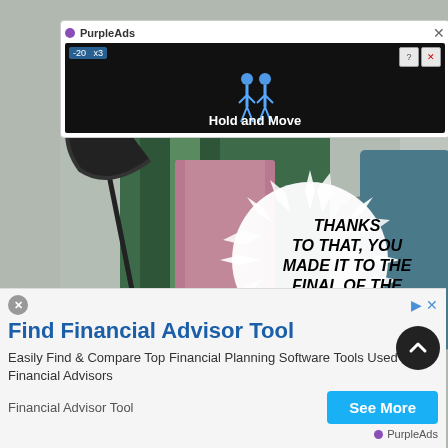[Figure (screenshot): Top PurpleAds advertisement overlay showing a mobile game ad with 'Hold and Move' text on dark background, with close button (X) and PurpleAds label]
[Figure (illustration): Manga/anime scene background showing characters in traditional robes (green and pink) with a rope/chain, with a starburst speech bubble containing text 'THANKS TO THAT, YOU MADE IT TO THE FINAL OF THE HOLY WAR...']
THANKS TO THAT, YOU MADE IT TO THE FINAL OF THE HOLY WAR...
[Figure (screenshot): Bottom PurpleAds advertisement for 'Find Financial Advisor Tool' with blue title, description text, 'See More' button in cyan, and source label 'Financial Advisor Tool']
Find Financial Advisor Tool
Easily Find & Compare Top Financial Planning Software Tools Used by Financial Advisors
Financial Advisor Tool
See More